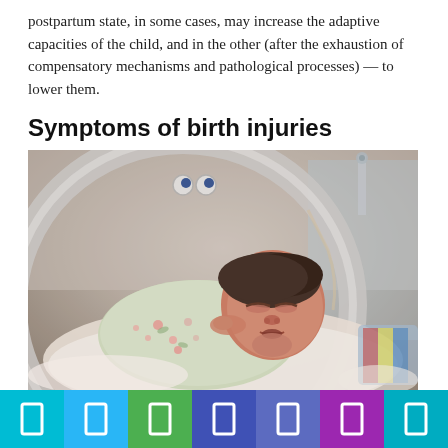postpartum state, in some cases, may increase the adaptive capacities of the child, and in the other (after the exhaustion of compensatory mechanisms and pathological processes) — to lower them.
Symptoms of birth injuries
[Figure (photo): A newborn baby lying in a hospital incubator, wrapped in a floral blanket, with medical equipment visible in the background.]
Social media share buttons bar